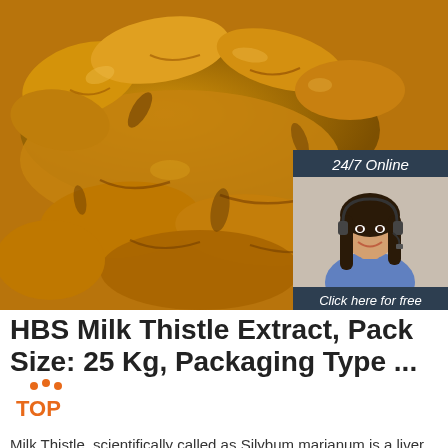[Figure (photo): Close-up photo of fresh ginger root pieces, golden-brown color, filling the top portion of the page. Overlaid in the right portion is a chat widget with a customer service agent photo, '24/7 Online' label, 'Click here for free chat!' text, and an orange QUOTATION button.]
HBS Milk Thistle Extract, Pack Size: 25 Kg, Packaging Type ... TOP
Milk Thistle, scientifically called as Silybum marianum is a liver and gall bladder medication used for more that 1800 ancient